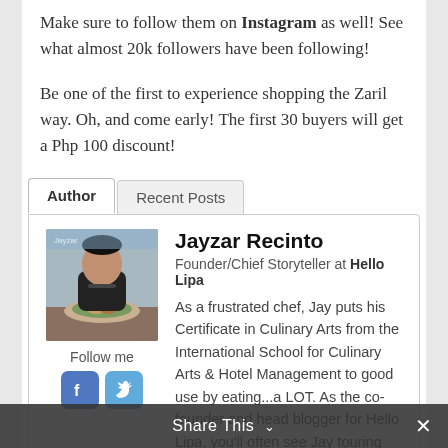Make sure to follow them on Instagram as well! See what almost 20k followers have been following!
Be one of the first to experience shopping the Zaril way. Oh, and come early! The first 30 buyers will get a Php 100 discount!
Author | Recent Posts
[Figure (photo): Photo of Jayzar Recinto eating at a restaurant]
Follow me
Jayzar Recinto
Founder/Chief Storyteller at Hello Lipa
As a frustrated chef, Jay puts his Certificate in Culinary Arts from the International School for Culinary Arts & Hotel Management to good use by eating...a LOT. As the co-founder and head blogger for Hello Lipa, you'll often see Jay touring the city for the best places to dine in and the most fun events to attend. If not doing Hello Lipa duties, you'll see Jay
Share This